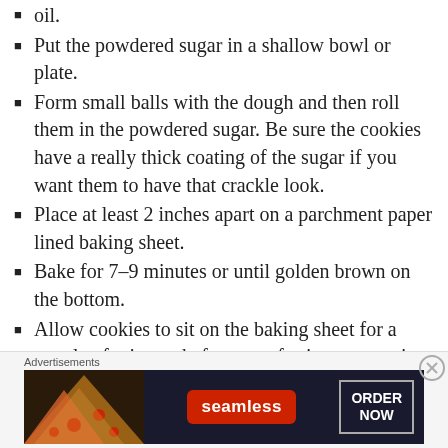oil.
Put the powdered sugar in a shallow bowl or plate.
Form small balls with the dough and then roll them in the powdered sugar. Be sure the cookies have a really thick coating of the sugar if you want them to have that crackle look.
Place at least 2 inches apart on a parchment paper lined baking sheet.
Bake for 7–9 minutes or until golden brown on the bottom.
Allow cookies to sit on the baking sheet for a couple of minutes before transferring to a cutting board or cooling rack.
[Figure (screenshot): Seamless food delivery advertisement banner with pizza image on left, Seamless red logo badge in center, and ORDER NOW button on right, on dark background.]